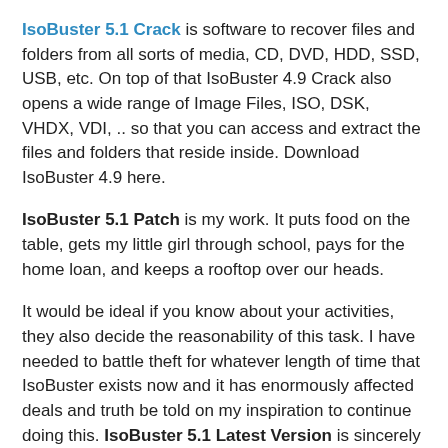IsoBuster 5.1 Crack is software to recover files and folders from all sorts of media, CD, DVD, HDD, SSD, USB, etc. On top of that IsoBuster 4.9 Crack also opens a wide range of Image Files, ISO, DSK, VHDX, VDI, .. so that you can access and extract the files and folders that reside inside. Download IsoBuster 4.9 here.
IsoBuster 5.1 Patch is my work. It puts food on the table, gets my little girl through school, pays for the home loan, and keeps a rooftop over our heads.
It would be ideal if you know about your activities, they also decide the reasonability of this task. I have needed to battle theft for whatever length of time that IsoBuster exists now and it has enormously affected deals and truth be told on my inspiration to continue doing this. IsoBuster 5.1 Latest Version is sincerely destroying to see so much maltreatment and negligence for my difficult work.